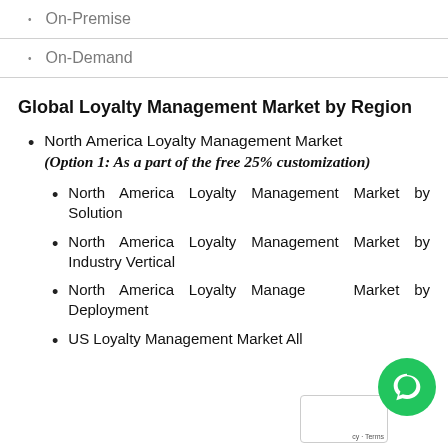On-Premise
On-Demand
Global Loyalty Management Market by Region
North America Loyalty Management Market (Option 1: As a part of the free 25% customization)
North America Loyalty Management Market by Solution
North America Loyalty Management Market by Industry Vertical
North America Loyalty Management Market by Deployment
US Loyalty Management Market All